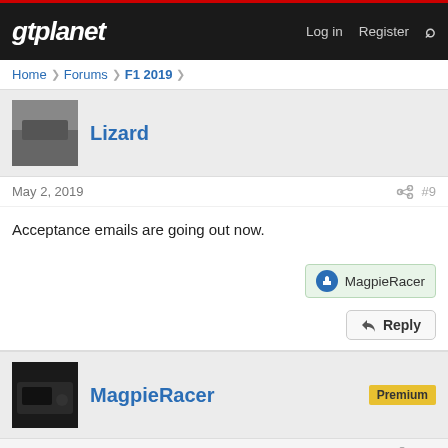gtplanet | Log in | Register
Home > Forums > F1 2019 >
Lizard
May 2, 2019  #9
Acceptance emails are going out now.
MagpieRacer (like reaction)
Reply
MagpieRacer  Premium
May 2, 2019  #10
Lizard
Acceptance emails are going out now.